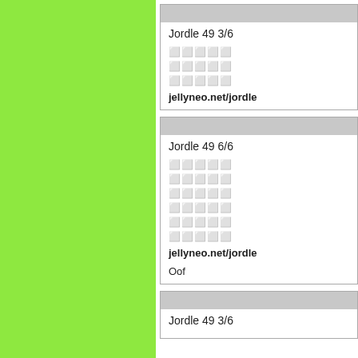[Figure (other): Large green rectangle panel on the left side of the page]
Jordle 49 3/6
🟥🟥🟥🟥🟥
🟥🟥🟥🟥🟥
🟥🟥🟥🟥🟥
jellyneo.net/jordle
Jordle 49 6/6
🟥🟥🟥🟥🟥
🟥🟥🟥🟥🟥
🟥🟥🟥🟥🟥
🟥🟥🟥🟥🟥
🟥🟥🟥🟥🟥
🟥🟥🟥🟥🟥
jellyneo.net/jordle

Oof
Jordle 49 3/6